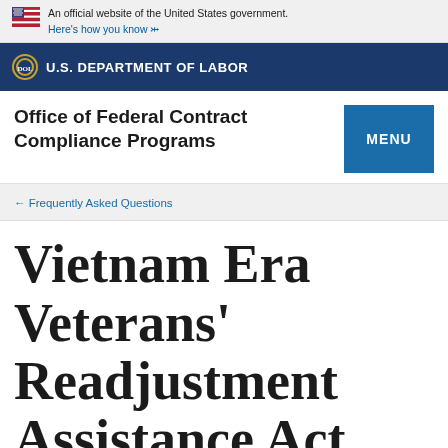An official website of the United States government. Here's how you know
U.S. DEPARTMENT OF LABOR
Office of Federal Contract Compliance Programs
← Frequently Asked Questions
Vietnam Era Veterans' Readjustment Assistance Act (VEVRAA)